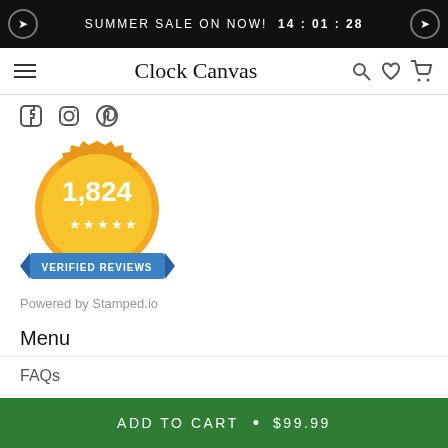SUMMER SALE ON NOW!  14 : 01 : 28
Clock Canvas
[Figure (other): Social media icons: Facebook, Instagram, Pinterest]
[Figure (other): Gold badge showing 1,824 verified reviews, with blue ribbon saying VERIFIED REVIEWS and five stars]
Powered by Stamped.io
Menu
FAQs
Track Orders
ADD TO CART  •  $99.99